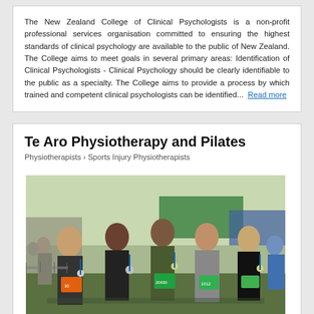The New Zealand College of Clinical Psychologists is a non-profit professional services organisation committed to ensuring the highest standards of clinical psychology are available to the public of New Zealand. The College aims to meet goals in several primary areas: Identification of Clinical Psychologists - Clinical Psychology should be clearly identifiable to the public as a specialty. The College aims to provide a process by which trained and competent clinical psychologists can be identified...  Read more
Te Aro Physiotherapy and Pilates
Physiotherapists > Sports Injury Physiotherapists
[Figure (photo): Group photo of five people wearing race bibs and medals at an outdoor running event, standing on grass with other participants in the background. Race bibs show numbers including 20930 and 1012.]